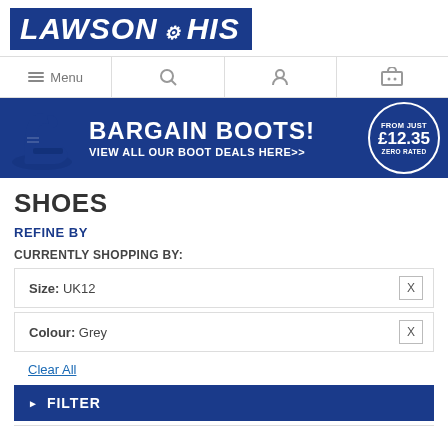[Figure (logo): Lawson HS logo — blue background with white italic bold text LAWSON HS and a gear icon between the two words]
[Figure (infographic): Blue banner advertisement: image of a safety boot on left, large white text BARGAIN BOOTS! and subtitle VIEW ALL OUR BOOT DEALS HERE>>, with a circular badge on right reading FROM JUST £12.35 ZERO RATED]
SHOES
REFINE BY
CURRENTLY SHOPPING BY:
Size: UK12
Colour: Grey
Clear All
FILTER